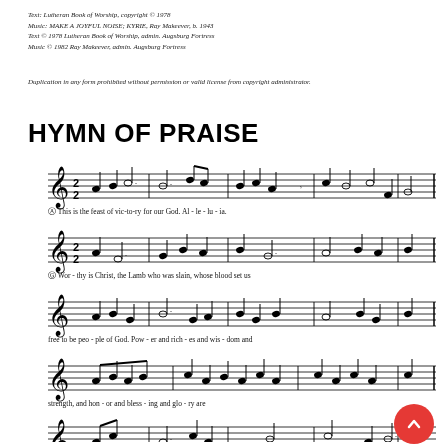Text: Lutheran Book of Worship, copyright © 1978
Music: MAKE A JOYFUL NOISE; KYRIE, Ray Makeever, b. 1943
Text © 1978 Lutheran Book of Worship, admin. Augsburg Fortress
Music © 1982 Ray Makeever, admin. Augsburg Fortress
Duplication in any form prohibited without permission or valid license from copyright administrator.
HYMN OF PRAISE
[Figure (other): Sheet music for Hymn of Praise. Five staves of musical notation in treble clef with two sharps (D major/B minor). Lyrics beneath each staff: Staff 1: 'A This is the feast of vic-to-ry for our God. Al-le-lu-ia.' Staff 2: 'G Wor-thy is Christ, the Lamb who was slain, whose blood set us' Staff 3: 'free to be peo-ple of God. Pow-er and rich-es and wis-dom and' Staff 4: 'strength, and hon-or and bless-ing and glo-ry are' Staff 5: (music continues, partial view)]